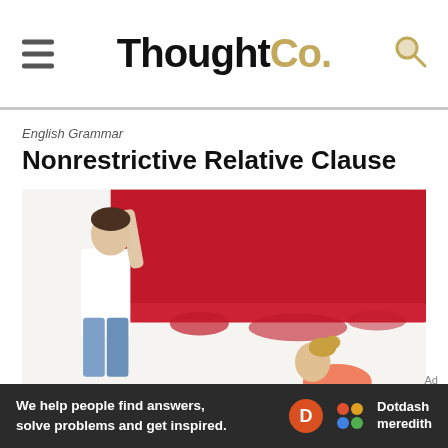ThoughtCo.
English Grammar
Nonrestrictive Relative Clause
[Figure (photo): Two people painting a wall red — one standing person in a white tank top and jeans painting the upper section, one person crouching in pink painting the lower section]
Ad
We help people find answers, solve problems and get inspired. Dotdash meredith